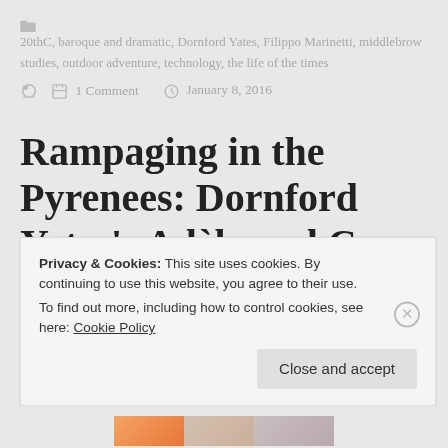20thC, baroque and dramatic, Dornford Yates, Filippo Marinetti, middlebrow studies, outdoor adventure, technology, the life of the times
1 Comment   January 8, 2016
Rampaging in the Pyrenees: Dornford Yates's Adèle and Co.
Privacy & Cookies: This site uses cookies. By continuing to use this website, you agree to their use.
To find out more, including how to control cookies, see here: Cookie Policy
Close and accept